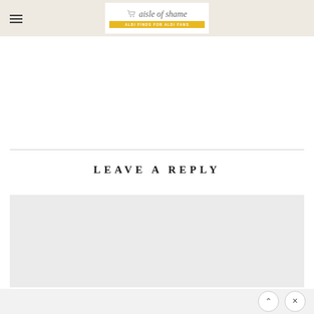aisle of shame — ALDI FINDS FOR ALDI FANS
LEAVE A REPLY
Write your comment...